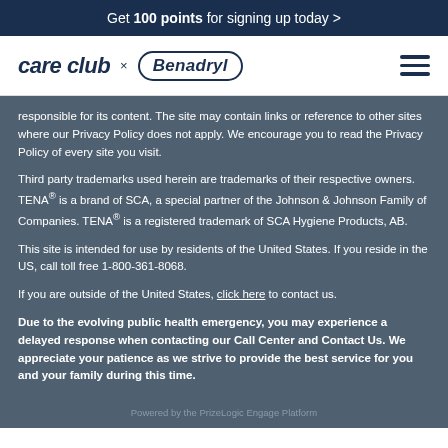Get 100 points for signing up today >
[Figure (logo): care club x Benadryl logo with hamburger menu icon]
responsible for its content. The site may contain links or reference to other sites where our Privacy Policy does not apply. We encourage you to read the Privacy Policy of every site you visit.
Third party trademarks used herein are trademarks of their respective owners. TENA® is a brand of SCA, a special partner of the Johnson & Johnson Family of Companies. TENA® is a registered trademark of SCA Hygiene Products, AB.
This site is intended for use by residents of the United States. If you reside in the US, call toll free 1-800-361-8068.
If you are outside of the United States, click here to contact us.
Due to the evolving public health emergency, you may experience a delayed response when contacting our Call Center and Contact Us. We appreciate your patience as we strive to provide the best service for you and your family during this time.
Powered by the PrizeLogic Engage Platform